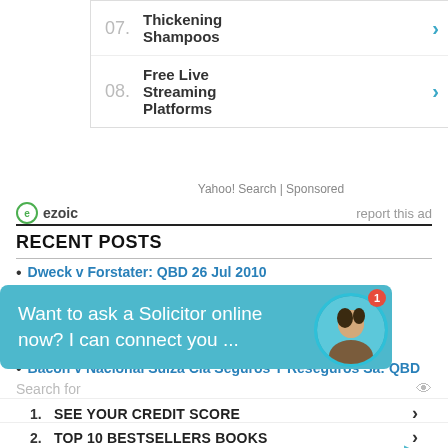07. Thickening Shampoos
08. Free Live Streaming Platforms
Yahoo! Search | Sponsored
ezoic  report this ad
RECENT POSTS
Dweck v Forstater: QBD 26 Jul 2010
[Figure (screenshot): Chat overlay: Want to ask a Solicitor online now? I can connect you ... with avatar and badge showing 1 notification]
Bacon v Nacional Suiza Cia Seguros Y Reseguros Sa: QBD
Search for
1. SEE YOUR CREDIT SCORE
2. TOP 10 BESTSELLERS BOOKS